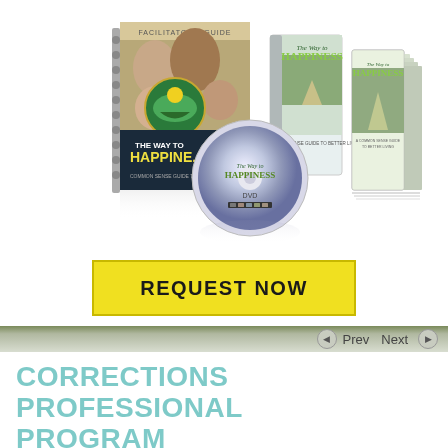[Figure (photo): Product collection for 'The Way to Happiness' program including a spiral-bound facilitator's guide, DVD case, DVD disc, booklet, and a stack of booklets, all featuring the 'The Way to Happiness' branding with nature imagery.]
REQUEST NOW
Prev   Next
CORRECTIONS PROFESSIONAL PROGRAM
Restoring Self-Respect to Adults and Juveniles